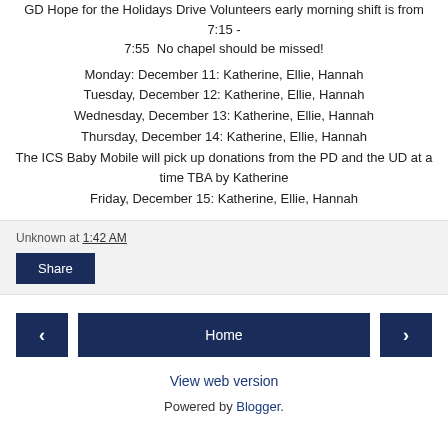GD Hope for the Holidays Drive Volunteers early morning shift is from 7:15 - 7:55  No chapel should be missed!
Monday: December 11: Katherine, Ellie, Hannah
Tuesday, December 12: Katherine, Ellie, Hannah
Wednesday, December 13: Katherine, Ellie, Hannah
Thursday, December 14: Katherine, Ellie, Hannah
The ICS Baby Mobile will pick up donations from the PD and the UD at a time TBA by Katherine
Friday, December 15: Katherine, Ellie, Hannah
Unknown at 1:42 AM
Share
Home
View web version
Powered by Blogger.